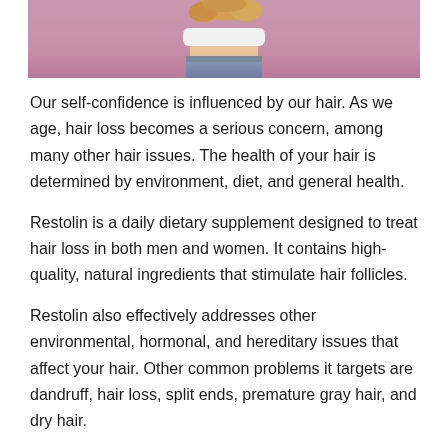[Figure (photo): Partial photo of a person with curly blonde hair wearing a white top and denim shorts against a pink background, cropped at the torso]
Our self-confidence is influenced by our hair. As we age, hair loss becomes a serious concern, among many other hair issues. The health of your hair is determined by environment, diet, and general health.
Restolin is a daily dietary supplement designed to treat hair loss in both men and women. It contains high-quality, natural ingredients that stimulate hair follicles.
Restolin also effectively addresses other environmental, hormonal, and hereditary issues that affect your hair. Other common problems it targets are dandruff, hair loss, split ends, premature gray hair, and dry hair.
Before you go on, you may want to check out this video by Bai Musical on YouTube that gives a quick overview. In this review, we'll look at